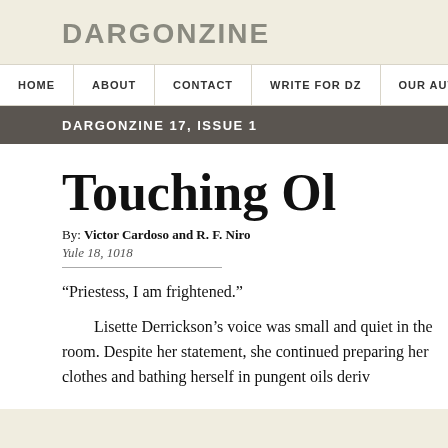DARGONZINE
HOME | ABOUT | CONTACT | WRITE FOR DZ | OUR AUTHORS
DARGONZINE 17, ISSUE 1
Touching Ol
By: Victor Cardoso and R. F. Niro
Yule 18, 1018
“Priestess, I am frightened.”
Lisette Derrickson’s voice was small and quiet in the room. Despite her statement, she continued preparing her clothes and bathing herself in pungent oils deriv